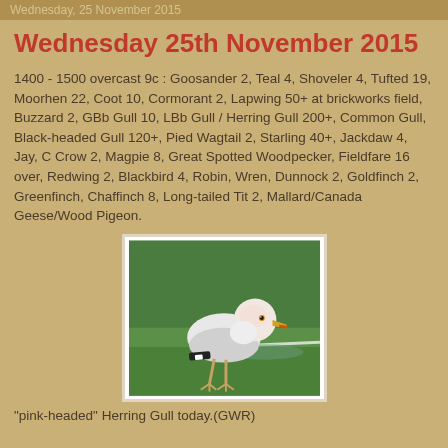Wednesday, 25 November 2015
Wednesday 25th November 2015
1400 - 1500 overcast 9c : Goosander 2, Teal 4, Shoveler 4, Tufted 19, Moorhen 22, Coot 10, Cormorant 2, Lapwing 50+ at brickworks field, Buzzard 2, GBb Gull 10, LBb Gull / Herring Gull 200+, Common Gull, Black-headed Gull 120+, Pied Wagtail 2, Starling 40+, Jackdaw 4, Jay, C Crow 2, Magpie 8, Great Spotted Woodpecker, Fieldfare 16 over, Redwing 2, Blackbird 4, Robin, Wren, Dunnock 2, Goldfinch 2, Greenfinch, Chaffinch 8, Long-tailed Tit 2, Mallard/Canada Geese/Wood Pigeon.
[Figure (photo): A white/grey herring gull with pink-tinged head standing on green grass, facing left, with yellow beak.]
"pink-headed" Herring Gull today.(GWR)